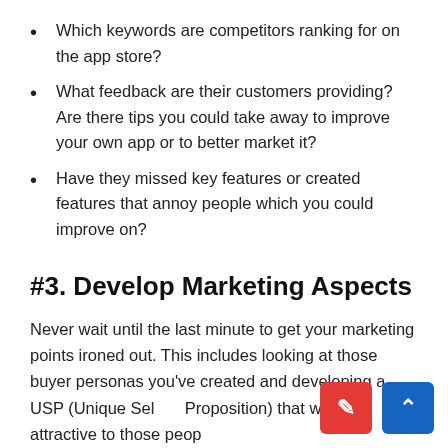Which keywords are competitors ranking for on the app store?
What feedback are their customers providing? Are there tips you could take away to improve your own app or to better market it?
Have they missed key features or created features that annoy people which you could improve on?
#3. Develop Marketing Aspects
Never wait until the last minute to get your marketing points ironed out. This includes looking at those buyer personas you've created and developing a USP (Unique Selling Proposition) that will be attractive to those peop…